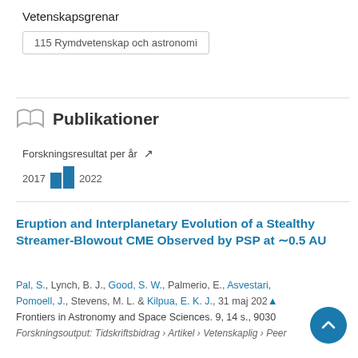Vetenskapsgrenar
115 Rymdvetenskap och astronomi
Publikationer
Forskningsresultat per år
[Figure (bar-chart): Forskningsresultat per år]
Eruption and Interplanetary Evolution of a Stealthy Streamer-Blowout CME Observed by PSP at ~0.5 AU
Pal, S., Lynch, B. J., Good, S. W., Palmerio, E., Asvestari, Pomoell, J., Stevens, M. L. & Kilpua, E. K. J., 31 maj 2022, Frontiers in Astronomy and Space Sciences. 9, 14 s., 9030
Forskningsoutput: Tidskriftsbidrag › Artikel › Vetenskaplig › Peer